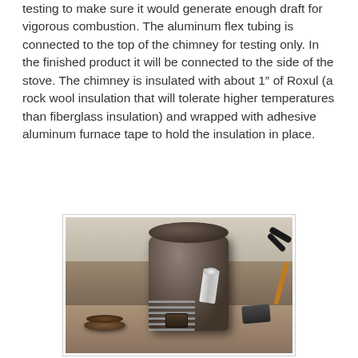testing to make sure it would generate enough draft for vigorous combustion. The aluminum flex tubing is connected to the top of the chimney for testing only. In the finished product it will be connected to the side of the stove. The chimney is insulated with about 1" of Roxul (a rock wool insulation that will tolerate higher temperatures than fiberglass insulation) and wrapped with adhesive aluminum furnace tape to hold the insulation in place.
[Figure (photo): A homemade wood gasifier stove made from a large metal cylinder (likely a propane tank), sitting on a concrete floor in a workshop. The stove has a silver pipe/flue connection on its side wrapped with aluminum tape. A round metal lid sits on the floor to the left, and various tools are visible on the right side of the image.]